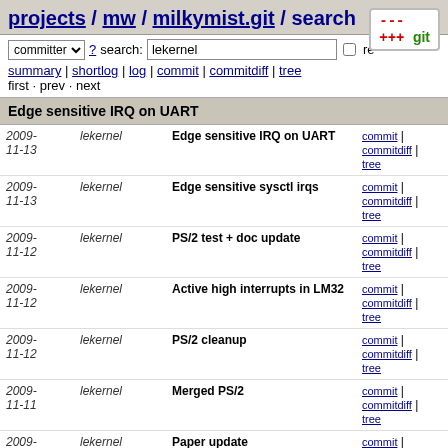projects / mw / milkymist.git / search
committer ▾  ? search: lekernel  re
summary | shortlog | log | commit | commitdiff | tree
first · prev · next
Edge sensitive IRQ on UART
| date | author | message | links |
| --- | --- | --- | --- |
| 2009-11-13 | lekernel | Edge sensitive IRQ on UART | commit | commitdiff | tree |
| 2009-11-13 | lekernel | Edge sensitive sysctl irqs | commit | commitdiff | tree |
| 2009-11-12 | lekernel | PS/2 test + doc update | commit | commitdiff | tree |
| 2009-11-12 | lekernel | Active high interrupts in LM32 | commit | commitdiff | tree |
| 2009-11-12 | lekernel | PS/2 cleanup | commit | commitdiff | tree |
| 2009-11-11 | lekernel | Merged PS/2 | commit | commitdiff | tree |
| 2009-11-10 | lekernel | Paper update | commit | commitdiff | tree |
| 2009-11-09 | Takeshi MATSUYA | kernel reboot (support warm boot entry @ 0x00000100) | commit | commitdiff | tree |
| 2009-11-0? | lekernel | Use correct system.v | commit | commitdiff |